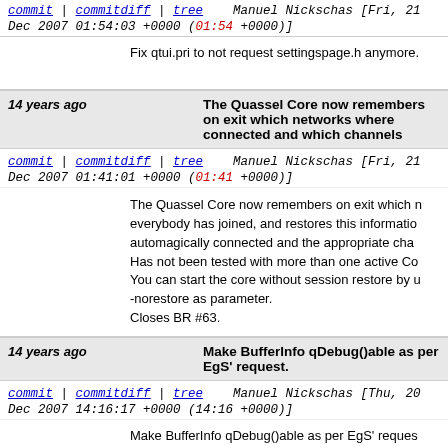commit | commitdiff | tree   Manuel Nickschas [Fri, 21 Dec 2007 01:54:03 +0000 (01:54 +0000)]
Fix qtui.pri to not request settingspage.h anymore.
14 years ago   The Quassel Core now remembers on exit which networks where connected and which channels
commit | commitdiff | tree   Manuel Nickschas [Fri, 21 Dec 2007 01:41:01 +0000 (01:41 +0000)]
The Quassel Core now remembers on exit which n everybody has joined, and restores this informatio automagically connected and the appropriate cha Has not been tested with more than one active Co You can start the core without session restore by u -norestore as parameter. Closes BR #63.
14 years ago   Make BufferInfo qDebug()able as per EgS' request.
commit | commitdiff | tree   Manuel Nickschas [Thu, 20 Dec 2007 14:16:17 +0000 (14:16 +0000)]
Make BufferInfo qDebug()able as per EgS' reques
14 years ago   First part of the BufferTreeModel